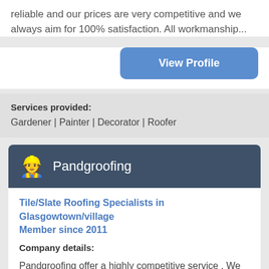reliable and our prices are very competitive and we always aim for 100% satisfaction. All workmanship...
View Profile
Services provided:
Gardener | Painter | Decorator | Roofer
Pandgroofing
Tile/Slate Roofing Specialists in Glasgowtown/village Member since 2011
Company details:
Pandgroofing offer a highly competitive service . We specialize in all aspects of roofing and roofline